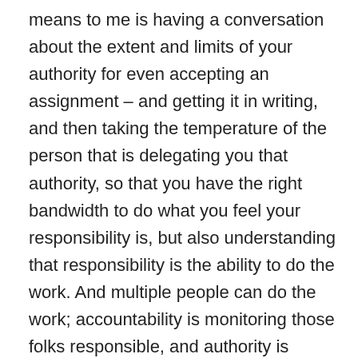means to me is having a conversation about the extent and limits of your authority for even accepting an assignment – and getting it in writing, and then taking the temperature of the person that is delegating you that authority, so that you have the right bandwidth to do what you feel your responsibility is, but also understanding that responsibility is the ability to do the work. And multiple people can do the work; accountability is monitoring those folks responsible, and authority is having the power to make decisions for those who are accountable and are responsible. And so, any one of those levers can be pulled so that whomever is doing that work is more meaningful. And the last point is self-care. Know who your support is. Be vocal in reaching out to them. Ms. Woods here is definitely mine. I've had many a hard day where the job felt like it was hell, and so she reached me to call and I